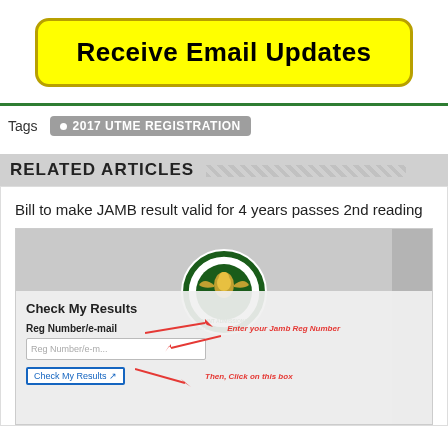[Figure (infographic): Yellow button with black bold text saying 'Receive Email Updates']
Tags  • 2017 UTME REGISTRATION
RELATED ARTICLES
Bill to make JAMB result valid for 4 years passes 2nd reading
[Figure (screenshot): Screenshot of JAMB result checking page with JAMB logo, a form titled 'Check My Results' with reg number field and Check My Results button, red arrows pointing to input and button]